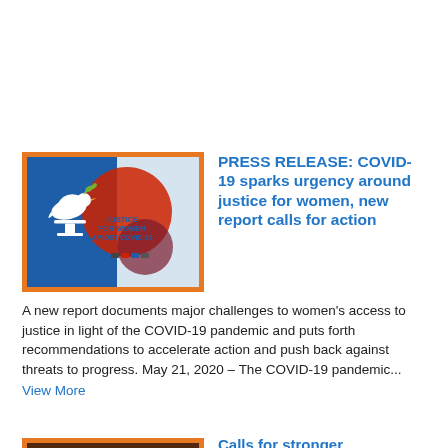[Figure (illustration): Justice for Women Amidst COVID-19 graphic with white dove and gavel on blue background with red circular shapes and partner logos]
PRESS RELEASE: COVID-19 sparks urgency around justice for women, new report calls for action
A new report documents major challenges to women's access to justice in light of the COVID-19 pandemic and puts forth recommendations to accelerate action and push back against threats to progress.  May 21, 2020 – The COVID-19 pandemic...
View More
[Figure (photo): Photo of three people seated at a panel discussion, including two women and one man in professional attire]
Calls for stronger commitments as justice for women is